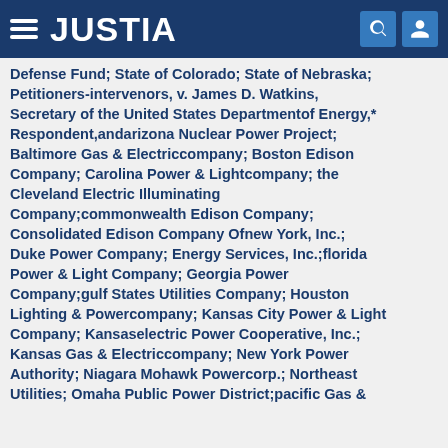JUSTIA
Defense Fund; State of Colorado; State of Nebraska; Petitioners-intervenors, v. James D. Watkins, Secretary of the United States Departmentof Energy,* Respondent,andarizona Nuclear Power Project; Baltimore Gas & Electriccompany; Boston Edison Company; Carolina Power & Lightcompany; the Cleveland Electric Illuminating Company;commonwealth Edison Company; Consolidated Edison Company Ofnew York, Inc.; Duke Power Company; Energy Services, Inc.;florida Power & Light Company; Georgia Power Company;gulf States Utilities Company; Houston Lighting & Powercompany; Kansas City Power & Light Company; Kansaselectric Power Cooperative, Inc.; Kansas Gas & Electriccompany; New York Power Authority; Niagara Mohawk Powercorp.; Northeast Utilities; Omaha Public Power District;pacific Gas &